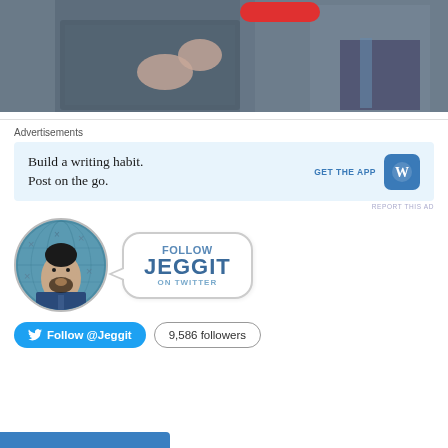[Figure (photo): Two men in suits, one gesturing with hands raised, cropped screenshot or video still]
Advertisements
[Figure (screenshot): WordPress advertisement: Build a writing habit. Post on the go. GET THE APP with WordPress logo]
REPORT THIS AD
[Figure (illustration): Follow Jeggit on Twitter promotional graphic with illustrated avatar and speech bubble saying FOLLOW JEGGIT ON TWITTER]
Follow @Jeggit   9,586 followers